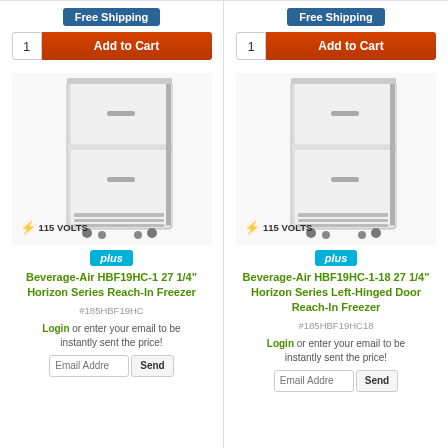[Figure (screenshot): E-commerce product listing page showing two commercial reach-in freezers side by side with Add to Cart buttons, product images, titles, SKUs, and email price request forms.]
Free Shipping
1  Add to Cart
[Figure (photo): Beverage-Air HBF19HC-1 stainless steel reach-in freezer on casters, with 115 VOLTS badge]
plus
Beverage-Air HBF19HC-1 27 1/4" Horizon Series Reach-In Freezer
#185HBF19HC
Login or enter your email to be instantly sent the price!
Email Addre  Send
Free Shipping
1  Add to Cart
[Figure (photo): Beverage-Air HBF19HC-1-18 stainless steel left-hinged door reach-in freezer on casters, with 115 VOLTS badge]
plus
Beverage-Air HBF19HC-1-18 27 1/4" Horizon Series Left-Hinged Door Reach-In Freezer
#185HBF19HC18
Login or enter your email to be instantly sent the price!
Email Addre  Send